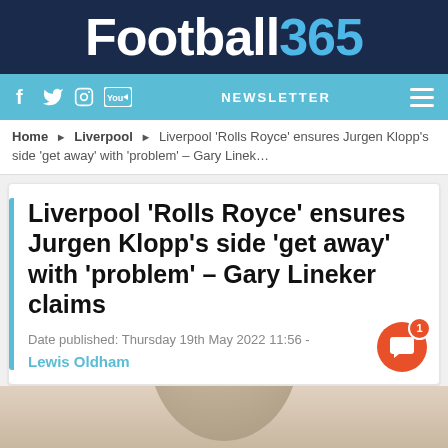Football365
[Figure (logo): Football365 website navigation bar with social media icons (Facebook, Twitter, Instagram, YouTube), NEWSLETTER text, and hamburger menu]
Home ▶ Liverpool ▶ Liverpool 'Rolls Royce' ensures Jurgen Klopp's side 'get away' with 'problem' – Gary Linek...
Liverpool 'Rolls Royce' ensures Jurgen Klopp's side 'get away' with 'problem' – Gary Lineker claims
Date published: Thursday 19th May 2022 11:56 -
Lewis Oldham
[Figure (photo): Partial photo of a person's head/face at the bottom of the page, cropped]